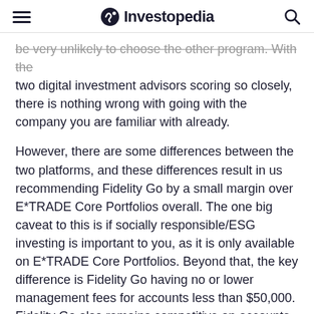Investopedia
be very unlikely to choose the other program. With the two digital investment advisors scoring so closely, there is nothing wrong with going with the company you are familiar with already.
However, there are some differences between the two platforms, and these differences result in us recommending Fidelity Go by a small margin over E*TRADE Core Portfolios overall. The one big caveat to this is if socially responsible/ESG investing is important to you, as it is only available on E*TRADE Core Portfolios. Beyond that, the key difference is Fidelity Go having no or lower management fees for accounts less than $50,000. Fidelity Go also remains competitive on accounts with larger balances because, in addition to competitive returns, it also offers free financial